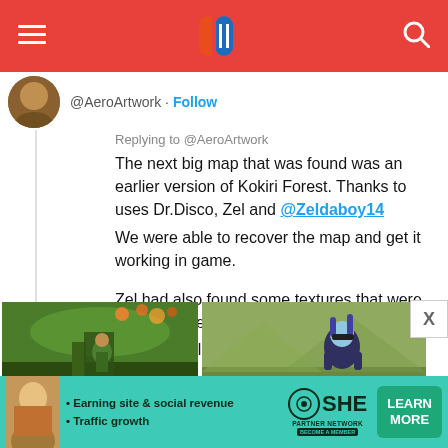Navigation bar with menu icon, Nintendo Switch-style logo, and search icon
@AeroArtwork · Follow
Replying to @AeroArtwork
The next big map that was found was an earlier version of Kokiri Forest. Thanks to uses Dr.Disco, Zel and @Zeldaboy14
We were able to recover the map and get it working in game.

Zel had also found some textures that were for the model.
I will post all textures to a GD later!
[Figure (screenshot): Four game screenshots in a 2x2 grid: Zelda character in Kokiri Forest, Splatoon squid kid character, a mossy island/toad scene, and a purple toned outdoor scene]
SHE Partner Network ad — Earning site & social revenue · Traffic growth — LEARN MORE